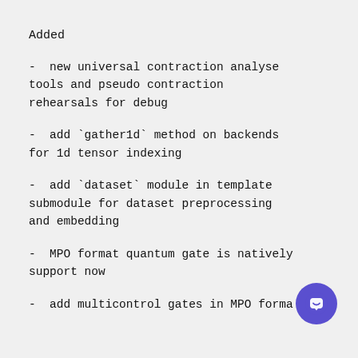Added
- new universal contraction analyse tools and pseudo contraction rehearsals for debug
- add `gather1d` method on backends for 1d tensor indexing
- add `dataset` module in template submodule for dataset preprocessing and embedding
- MPO format quantum gate is natively support now
- add multicontrol gates in MPO format